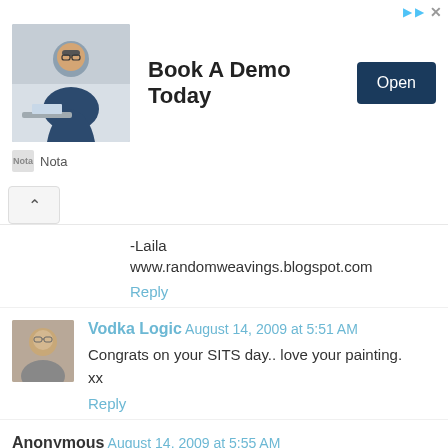[Figure (screenshot): Advertisement banner for 'Nota' featuring a man in glasses at a desk. Text reads 'Book A Demo Today' with an 'Open' button. Small Nota logo at bottom left.]
-Laila
www.randomweavings.blogspot.com
Reply
Vodka Logic August 14, 2009 at 5:51 AM
Congrats on your SITS day.. love your painting.
xx
Reply
Anonymous August 14, 2009 at 5:55 AM
Hmm. I already have blogging, dare I bookmark you and add to my addictions? You've got talent!